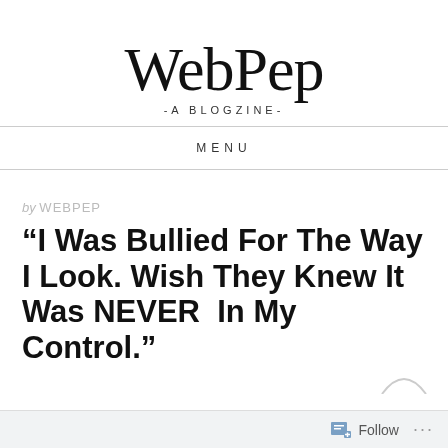WebPep · A BLOGZINE
MENU
by WEBPEP
“I Was Bullied For The Way I Look. Wish They Knew It Was NEVER In My Control.”
Follow